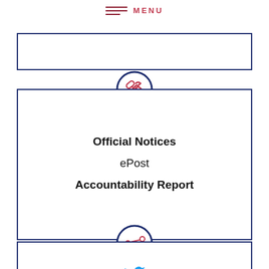MENU
[Figure (infographic): Card with chain link icon containing links: Official Notices, ePost, Accountability Report]
Official Notices
ePost
Accountability Report
[Figure (infographic): Card with share/network icon and Twitter bird icon]